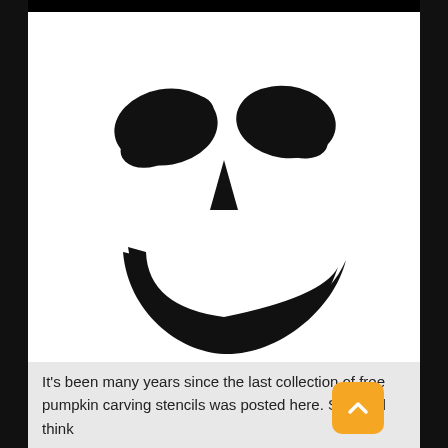[Figure (illustration): A jack-o-lantern face stencil on white background: two black eye shapes (irregular trapezoids), a small triangular nose in the center, and a large curved crescent smile at the bottom. Black silhouette style, no outline — just the cutout shapes on white.]
It’s been many years since the last collection of free pumpkin carving stencils was posted here. So you’d think